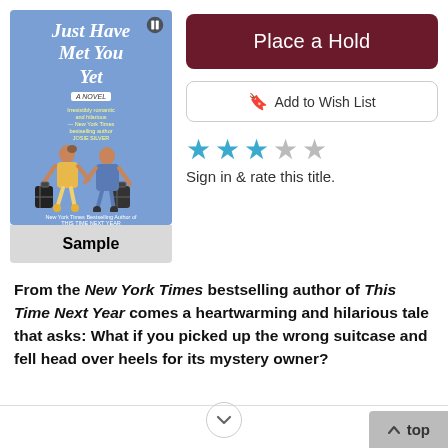[Figure (illustration): Book cover of 'Just Have Met You Yet' by Sophie Cousens. Blue background with illustrated figures of a man and woman walking with suitcases. Library/OverDrive logo icon in top right corner.]
Sample
Place a Hold
Add to Wish List
[Figure (other): Three filled blue/teal stars and two empty gray stars representing a rating out of 5]
Sign in & rate this title.
From the New York Times bestselling author of This Time Next Year comes a heartwarming and hilarious tale that asks: What if you picked up the wrong suitcase and fell head over heels for its mystery owner?